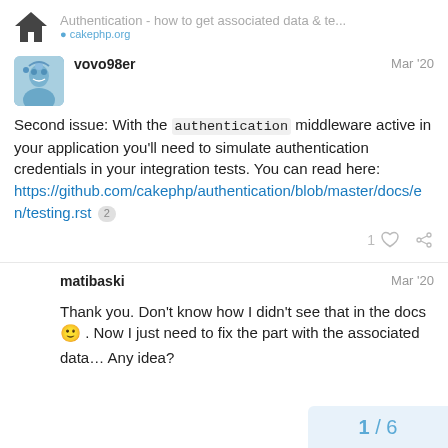Authentication - how to get associated data & te...
vovo98er  Mar '20
Second issue: With the authentication middleware active in your application you'll need to simulate authentication credentials in your integration tests. You can read here: https://github.com/cakephp/authentication/blob/master/docs/en/testing.rst 2
matibaski  Mar '20
Thank you. Don't know how I didn't see that in the docs 🙂 . Now I just need to fix the part with the associated data… Any idea?
1 / 6